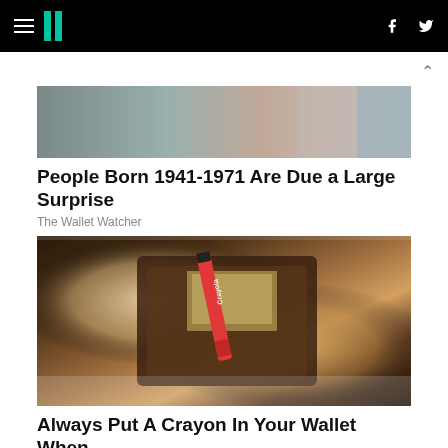HuffPost navigation bar with hamburger menu, logo, Facebook and Twitter icons
[Figure (photo): Partial image of an elderly person, cropped, with gradient overlay]
People Born 1941-1971 Are Due a Large Surprise
The Wallet Watcher
[Figure (photo): Hands holding open a brown leather wallet containing a red Crayola crayon and euro banknotes, on a white wooden surface]
Always Put A Crayon In Your Wallet When